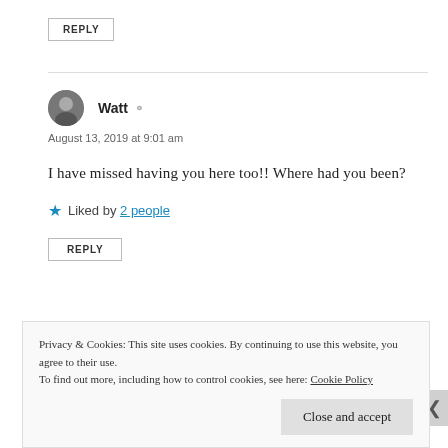REPLY
Watt
August 13, 2019 at 9:01 am
I have missed having you here too!! Where had you been?
Liked by 2 people
REPLY
Privacy & Cookies: This site uses cookies. By continuing to use this website, you agree to their use. To find out more, including how to control cookies, see here: Cookie Policy
Close and accept